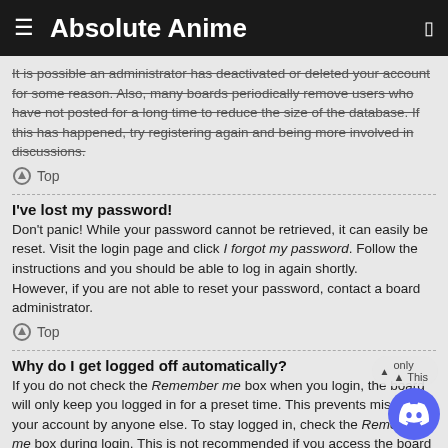Absolute Anime
It is possible an administrator has deactivated or deleted your account for some reason. Also, many boards periodically remove users who have not posted for a long time to reduce the size of the database. If this has happened, try registering again and being more involved in discussions.
Top
I've lost my password!
Don't panic! While your password cannot be retrieved, it can easily be reset. Visit the login page and click I forgot my password. Follow the instructions and you should be able to log in again shortly. However, if you are not able to reset your password, contact a board administrator.
Top
Why do I get logged off automatically?
If you do not check the Remember me box when you login, the board will only keep you logged in for a preset time. This prevents misuse of your account by anyone else. To stay logged in, check the Remember me box during login. This is not recommended if you access the board from a shared computer, e.g. library, internet cafe, university computer lab, etc. If you do not see this checkbox, it means a board administrator has disabled this feature.